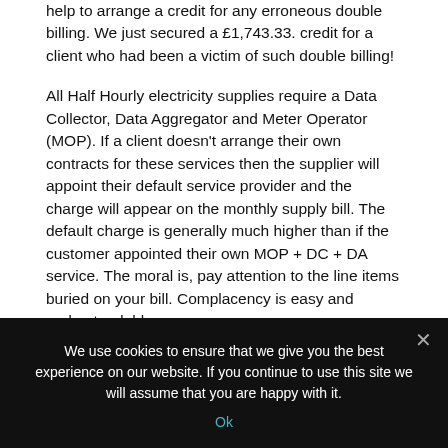help to arrange a credit for any erroneous double billing. We just secured a £1,743.33. credit for a client who had been a victim of such double billing!

All Half Hourly electricity supplies require a Data Collector, Data Aggregator and Meter Operator (MOP). If a client doesn't arrange their own contracts for these services then the supplier will appoint their default service provider and the charge will appear on the monthly supply bill. The default charge is generally much higher than if the customer appointed their own MOP + DC + DA service. The moral is, pay attention to the line items buried on your bill. Complacency is easy and understandable
We use cookies to ensure that we give you the best experience on our website. If you continue to use this site we will assume that you are happy with it.
Ok